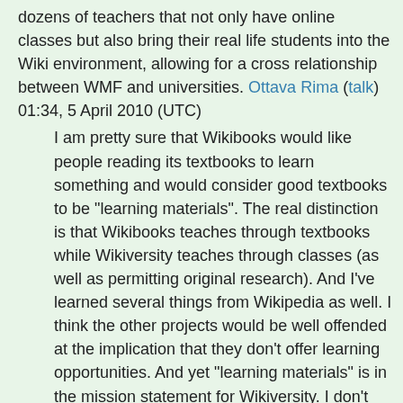dozens of teachers that not only have online classes but also bring their real life students into the Wiki environment, allowing for a cross relationship between WMF and universities. Ottava Rima (talk) 01:34, 5 April 2010 (UTC)
I am pretty sure that Wikibooks would like people reading its textbooks to learn something and would consider good textbooks to be "learning materials". The real distinction is that Wikibooks teaches through textbooks while Wikiversity teaches through classes (as well as permitting original research). And I've learned several things from Wikipedia as well. I think the other projects would be well offended at the implication that they don't offer learning opportunities. And yet "learning materials" is in the mission statement for Wikiversity. I don't agree with the proposal to close